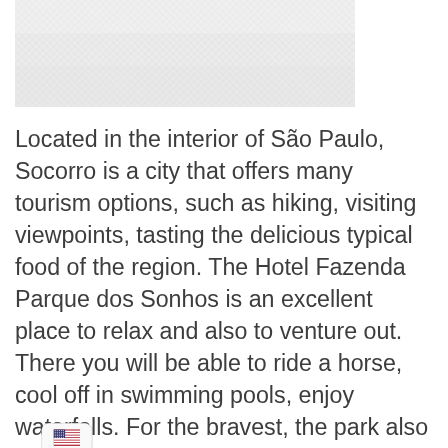[Figure (photo): A textured/crosshatched image area at the top of the page, showing a landscape or outdoor scene from Socorro, São Paulo. The image appears faded/crosshatched in style.]
Located in the interior of São Paulo, Socorro is a city that offers many tourism options, such as hiking, visiting viewpoints, tasting the delicious typical food of the region. The Hotel Fazenda Parque dos Sonhos is an excellent place to relax and also to venture out. There you will be able to ride a horse, cool off in swimming pools, enjoy waterfalls. For the bravest, the park also offers a zip line.
[Figure (illustration): A rounded rectangle button showing a US flag emoji/icon, indicating English language selection.]